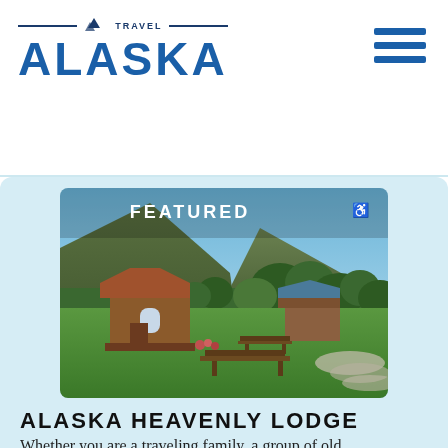[Figure (logo): Travel Alaska logo with mountain icon and ALASKA text in blue]
[Figure (other): Hamburger menu icon with three blue horizontal bars]
[Figure (photo): Featured photo of Alaska Heavenly Lodge showing log cabins on a green lawn with forested mountain backdrop, labeled FEATURED with wheelchair accessibility icon]
ALASKA HEAVENLY LODGE
Whether you are a traveling family, a group of old